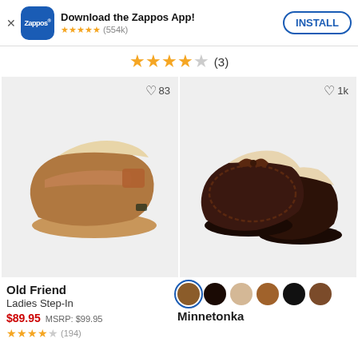[Figure (screenshot): Zappos app install banner with logo, 5-star rating (554k), and INSTALL button]
★★★★☆ (3)
[Figure (photo): Old Friend Ladies Step-In slipper in tan/chestnut color, velcro closure, fur lining. Heart/like count: 83]
[Figure (photo): Minnetonka moccasin slipper in dark brown, lace detail, fur lining. Heart/like count: 1k, with 6 color swatches below]
Old Friend
Ladies Step-In
$89.95  MSRP: $99.95
★★★★☆ (194)
Minnetonka